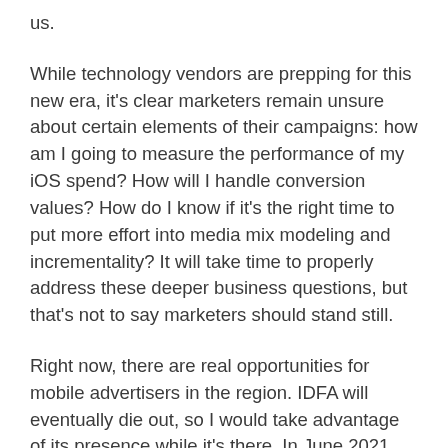us.
While technology vendors are prepping for this new era, it's clear marketers remain unsure about certain elements of their campaigns: how am I going to measure the performance of my iOS spend? How will I handle conversion values? How do I know if it's the right time to put more effort into media mix modeling and incrementality? It will take time to properly address these deeper business questions, but that's not to say marketers should stand still.
Right now, there are real opportunities for mobile advertisers in the region. IDFA will eventually die out, so I would take advantage of its presence while it's there. In June 2021, we saw that an average of 63